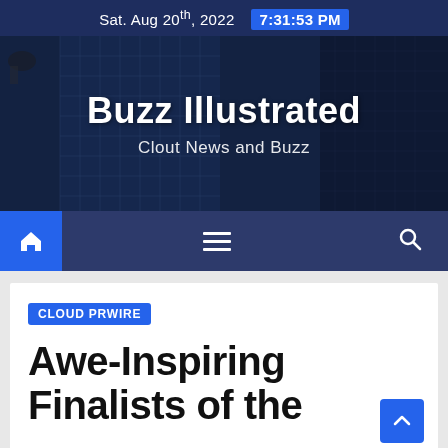Sat. Aug 20th, 2022  7:31:53 PM
Buzz Illustrated
Clout News and Buzz
[Figure (screenshot): Navigation bar with home icon, hamburger menu, and search icon on dark navy background]
CLOUD PRWIRE
Awe-Inspiring Finalists of the